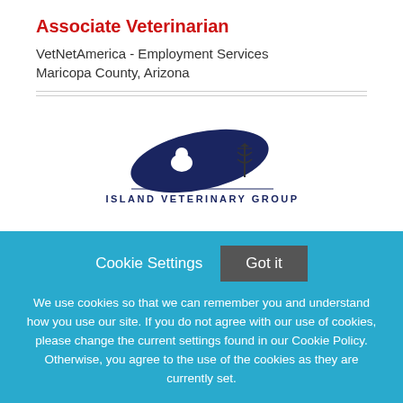Associate Veterinarian
VetNetAmerica - Employment Services
Maricopa County, Arizona
[Figure (logo): Island Veterinary Group logo with dog and cat silhouette on a map shape and a caduceus symbol, text reads ISLAND VETERINARY GROUP]
Cookie Settings  Got it
We use cookies so that we can remember you and understand how you use our site. If you do not agree with our use of cookies, please change the current settings found in our Cookie Policy. Otherwise, you agree to the use of the cookies as they are currently set.